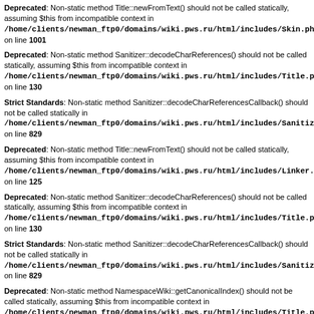Deprecated: Non-static method Title::newFromText() should not be called statically, assuming $this from incompatible context in /home/clients/newman_ftp0/domains/wiki.pws.ru/html/includes/Skin.php on line 1001
Deprecated: Non-static method Sanitizer::decodeCharReferences() should not be called statically, assuming $this from incompatible context in /home/clients/newman_ftp0/domains/wiki.pws.ru/html/includes/Title.php on line 130
Strict Standards: Non-static method Sanitizer::decodeCharReferencesCallback() should not be called statically in /home/clients/newman_ftp0/domains/wiki.pws.ru/html/includes/Sanitizer.php on line 829
Deprecated: Non-static method Title::newFromText() should not be called statically, assuming $this from incompatible context in /home/clients/newman_ftp0/domains/wiki.pws.ru/html/includes/Linker.php on line 125
Deprecated: Non-static method Sanitizer::decodeCharReferences() should not be called statically, assuming $this from incompatible context in /home/clients/newman_ftp0/domains/wiki.pws.ru/html/includes/Title.php on line 130
Strict Standards: Non-static method Sanitizer::decodeCharReferencesCallback() should not be called statically in /home/clients/newman_ftp0/domains/wiki.pws.ru/html/includes/Sanitizer.php on line 829
Deprecated: Non-static method NamespaceWiki::getCanonicalIndex() should not be called statically, assuming $this from incompatible context in /home/clients/newman_ftp0/domains/wiki.pws.ru/html/includes/Title.php on line 1392
Deprecated: Non-static method Title::newFromText() should not be called statically, assuming $this from incompatible context in /home/clients/newman_ftp0/domains/wiki.pws.ru/html/includes/Linker.php on line 127
Deprecated: Non-static method Title::newFromText() should not be called statically, assuming $this from incompatible context in /home/clients/newman_ftp0/domains/wiki.pws.ru/html/includes/Linker.php on line 125
Deprecated: Non-static method Sanitizer::decodeCharReferences() should not be called statically, assuming $this from incompatible context in /home/clients/newman_ftp0/domains/wiki.pws.ru/html/includes/Title.php on line 130
Strict Standards: Non-static method Sanitizer::decodeCharReferencesCallback() should not be called statically in /home/clients/newman_ftp0/domains/wiki.pws.ru/html/includes/Sanitizer.php on line ...